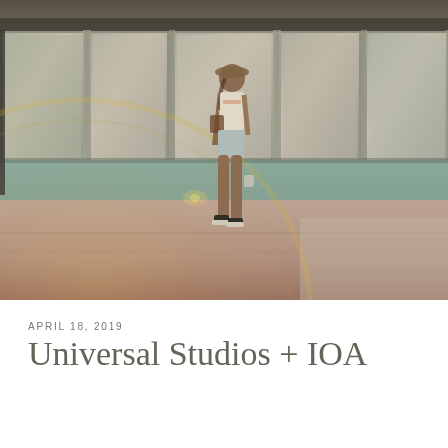[Figure (photo): A young woman walking in a plaza area in front of a large building with floor-to-ceiling glass storefront windows reflecting the surroundings. She wears a white crop top, light blue denim shorts, dark sneakers, and a hat, and carries a bag. The ground is paved with warm terracotta tones. A large circular lens flare is visible in the lower left of the image. The overall color grading is warm and slightly faded/vintage.]
APRIL 18, 2019
Universal Studios + IOA